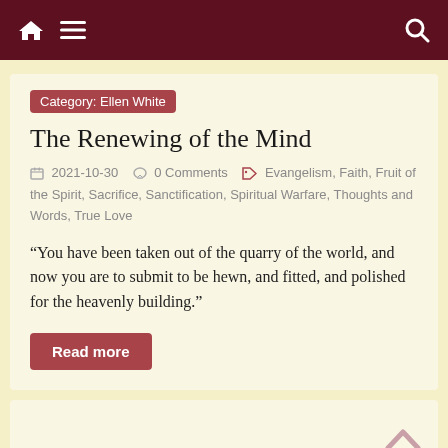Navigation bar with home, menu, and search icons
Category: Ellen White
The Renewing of the Mind
2021-10-30  0 Comments  Evangelism, Faith, Fruit of the Spirit, Sacrifice, Sanctification, Spiritual Warfare, Thoughts and Words, True Love
“You have been taken out of the quarry of the world, and now you are to submit to be hewn, and fitted, and polished for the heavenly building.”
Read more